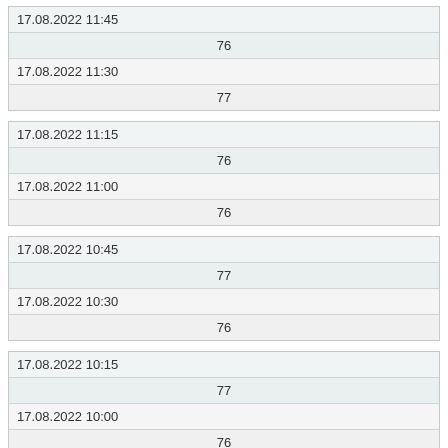| 17.08.2022 11:45 |
| 76 |
| 17.08.2022 11:30 |
| 77 |
| 17.08.2022 11:15 |
| 76 |
| 17.08.2022 11:00 |
| 76 |
| 17.08.2022 10:45 |
| 77 |
| 17.08.2022 10:30 |
| 76 |
| 17.08.2022 10:15 |
| 77 |
| 17.08.2022 10:00 |
| 76 |